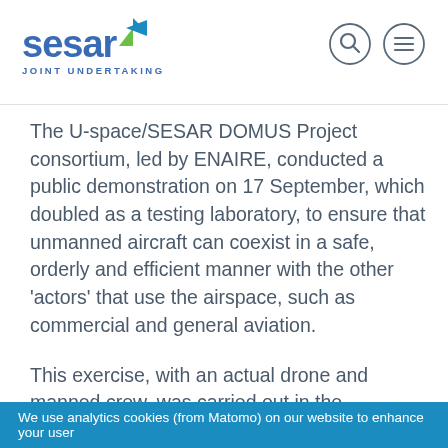[Figure (logo): SESAR Joint Undertaking logo with blue text and green/blue star icon]
[Figure (other): Navigation icons: magnifying glass (search) and hamburger menu, both in circular outlines]
The U-space/SESAR DOMUS Project consortium, led by ENAIRE, conducted a public demonstration on 17 September, which doubled as a testing laboratory, to ensure that unmanned aircraft can coexist in a safe, orderly and efficient manner with the other 'actors' that use the airspace, such as commercial and general aviation.
This exercise, with an actual drone and manned crew, was carried out in the presence of all consortium members, representatives of the SESAR Joint Undertaking alliance and
We use analytics cookies (from Matomo) on our website to enhance your user